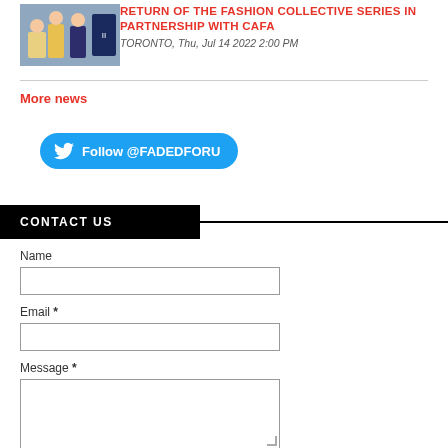[Figure (illustration): Thumbnail image showing fashion figures in an illustrated style with blue/purple background]
RETURN OF THE FASHION COLLECTIVE SERIES IN PARTNERSHIP WITH CAFA
TORONTO, Thu, Jul 14 2022 2:00 PM
More news
[Figure (other): Twitter Follow button with bird icon, text: Follow @FADEDFORU]
CONTACT US
Name
Email *
Message *